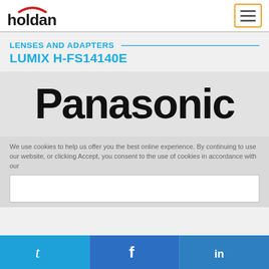holdan — navigation header with menu button
LENSES AND ADAPTERS
LUMIX H-FS14140E
[Figure (logo): Panasonic brand logo in large bold black text on light grey background]
We use cookies to help us offer you the best online experience. By continuing to use our website, or clicking Accept, you consent to the use of cookies in accordance with our
Social sharing bar: Twitter, Facebook, LinkedIn